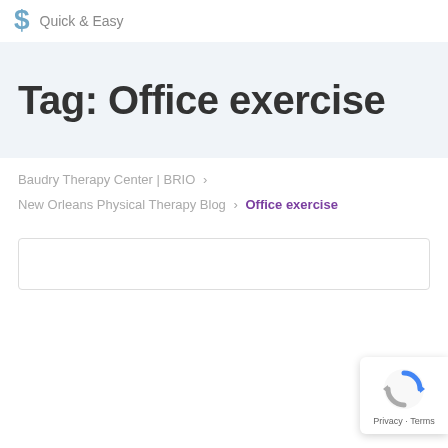Quick & Easy
Tag: Office exercise
Baudry Therapy Center | BRIO >
New Orleans Physical Therapy Blog > Office exercise
[Figure (other): reCAPTCHA badge with Privacy and Terms text]